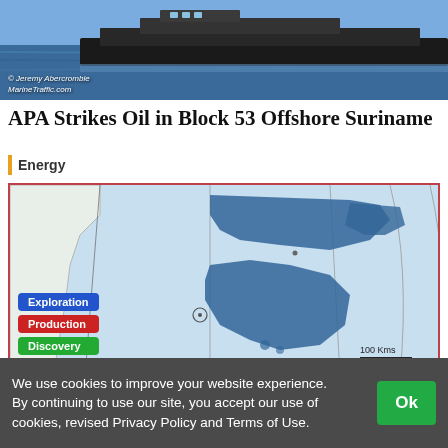[Figure (photo): Aerial or side view of a ship on water, dark hull visible against blue water]
© Jeremy Abercrombie
Marinetraffic.com
APA Strikes Oil in Block 53 Offshore Suriname
Energy
[Figure (map): Offshore map showing exploration blocks near Suriname coastline with blue shaded areas indicating oil blocks. Legend shows Exploration (blue), Production (red), Discovery (green). Scale bar shows 100 Kms.]
We use cookies to improve your website experience. By continuing to use our site, you accept our use of cookies, revised Privacy Policy and Terms of Use.